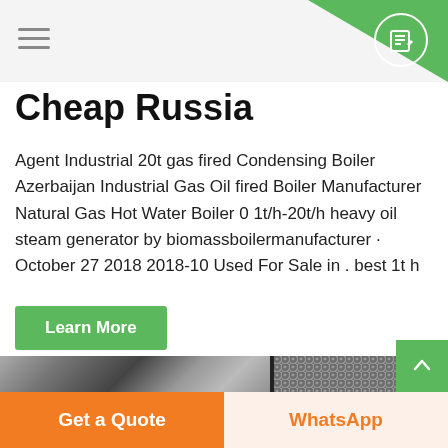Navigation header with hamburger menu and icon button
Cheap Russia
Agent Industrial 20t gas fired Condensing Boiler Azerbaijan Industrial Gas Oil fired Boiler Manufacturer Natural Gas Hot Water Boiler 0 1t/h-20t/h heavy oil steam generator by biomassboilermanufacturer · October 27 2018 2018-10 Used For Sale in . best 1t h
Learn More
[Figure (photo): Product photos strip showing industrial boiler equipment]
Get a Quote | WhatsApp